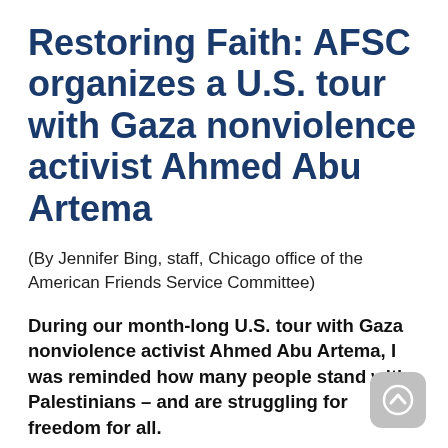Restoring Faith: AFSC organizes a U.S. tour with Gaza nonviolence activist Ahmed Abu Artema
(By Jennifer Bing, staff, Chicago office of the American Friends Service Committee)
During our month-long U.S. tour with Gaza nonviolence activist Ahmed Abu Artema, I was reminded how many people stand with Palestinians – and are struggling for freedom for all.
One of the last things Ahmed Abu Artema told